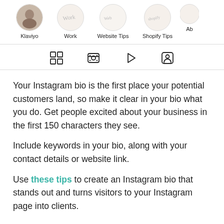[Figure (screenshot): Instagram story highlights navigation bar showing circular thumbnails labeled Klaviyo, Work, Website Tips, Shopify Tips, and a partially visible fifth item]
[Figure (screenshot): Instagram profile tab bar with four icons: grid, reels/video, play/video, and tagged photos]
Your Instagram bio is the first place your potential customers land, so make it clear in your bio what you do. Get people excited about your business in the first 150 characters they see.
Include keywords in your bio, along with your contact details or website link.
Use these tips to create an Instagram bio that stands out and turns visitors to your Instagram page into clients.
12. Experiment with Instagram Reels